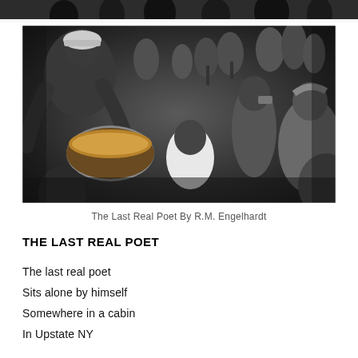[Figure (photo): Partial top strip of a black and white photograph showing people]
[Figure (photo): Black and white photograph of a 1950s/60s jazz or beat poetry gathering. A man in a white cap plays bongo drums on the left, surrounded by a crowd of young people in a basement or club setting. Multiple people visible in the background watching the performance.]
The Last Real Poet By R.M. Engelhardt
THE LAST REAL POET
The last real poet
Sits alone by himself
Somewhere in a cabin
In Upstate NY